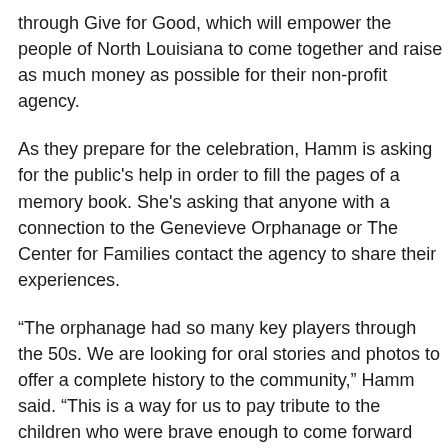through Give for Good, which will empower the people of North Louisiana to come together and raise as much money as possible for their non-profit agency.
As they prepare for the celebration, Hamm is asking for the public's help in order to fill the pages of a memory book. She's asking that anyone with a connection to the Genevieve Orphanage or The Center for Families contact the agency to share their experiences.
“The orphanage had so many key players through the 50s. We are looking for oral stories and photos to offer a complete history to the community,” Hamm said. “This is a way for us to pay tribute to the children who were brave enough to come forward and to those who helped guide them through tough times. Any connection or contacts we can get for those stories would be an honor.”
The Center for Families is located at 864 Olive Street in Shreveport. Counseling is provided on a sliding fee scale, also known as an “ability to pay” rate. Things like medical conditions and child support